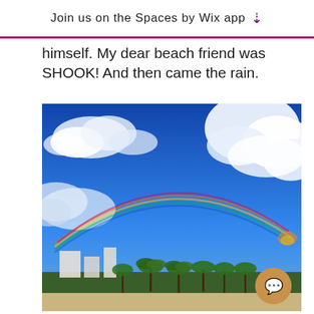Join us on the Spaces by Wix app
himself. My dear beach friend was SHOOK! And then came the rain.
[Figure (photo): Beach scene with bright blue sky, white cumulus clouds, a full rainbow arching across the horizon, palm trees and white buildings in the foreground, photographed from a sandy beach. A circular orange chat button is overlaid in the bottom-right corner.]